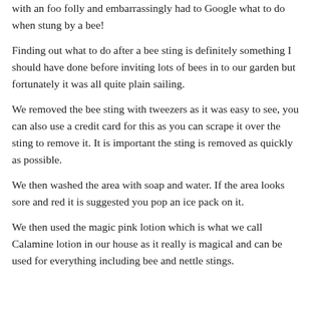with an foo folly and embarrassingly had to Google what to do when stung by a bee!
Finding out what to do after a bee sting is definitely something I should have done before inviting lots of bees in to our garden but fortunately it was all quite plain sailing.
We removed the bee sting with tweezers as it was easy to see, you can also use a credit card for this as you can scrape it over the sting to remove it. It is important the sting is removed as quickly as possible.
We then washed the area with soap and water. If the area looks sore and red it is suggested you pop an ice pack on it.
We then used the magic pink lotion which is what we call Calamine lotion in our house as it really is magical and can be used for everything including bee and nettle stings.